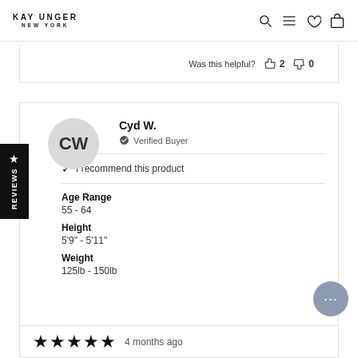KAY UNGER NEW YORK
Was this helpful? 👍 2 👎 0
Cyd W. — Verified Buyer
✔ I recommend this product
Age Range
55 - 64
Height
5'9" - 5'11"
Weight
125lb - 150lb
★★★★★  4 months ago